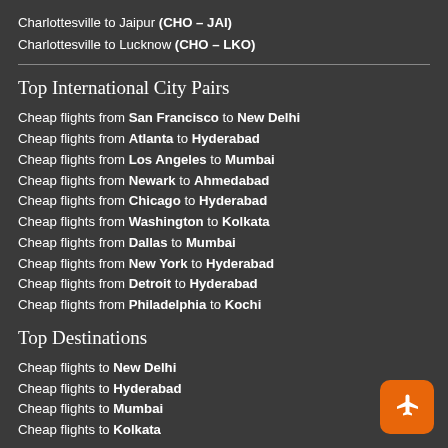Charlottesville to Jaipur (CHO – JAI)
Charlottesville to Lucknow (CHO – LKO)
Top International City Pairs
Cheap flights from San Francisco to New Delhi
Cheap flights from Atlanta to Hyderabad
Cheap flights from Los Angeles to Mumbai
Cheap flights from Newark to Ahmedabad
Cheap flights from Chicago to Hyderabad
Cheap flights from Washington to Kolkata
Cheap flights from Dallas to Mumbai
Cheap flights from New York to Hyderabad
Cheap flights from Detroit to Hyderabad
Cheap flights from Philadelphia to Kochi
Top Destinations
Cheap flights to New Delhi
Cheap flights to Hyderabad
Cheap flights to Mumbai
Cheap flights to Kolkata
[Figure (illustration): Orange rounded square button with white airplane icon]